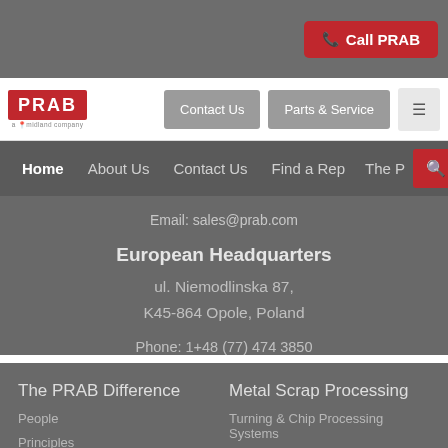Call PRAB
[Figure (logo): PRAB logo in red and white with tagline]
Contact Us | Parts & Service
Home  About Us  Contact Us  Find a Rep  The P...
Email: sales@prab.com
European Headquarters
ul. Niemodlinska 87,
K45-864 Opole, Poland
Phone: 1+48 (77) 474 3850
The PRAB Difference
People
Principles
Quality
Metal Scrap Processing
Turning & Chip Processing Systems
Modular Chip Processing Systems
Briquetters
Wringers/Centrifuges